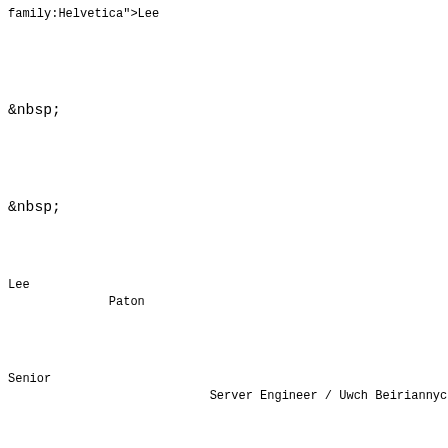Source code / HTML markup showing Microsoft Word MsoNormal paragraph tags with spans containing font-size, color, and mso-fareast-language attributes, with content including 'Lee', 'Lee Paton', 'Senior Server Engineer / Uwch Beiriannyc', 'University IT Service / Gwasanaeth TG y Brit'